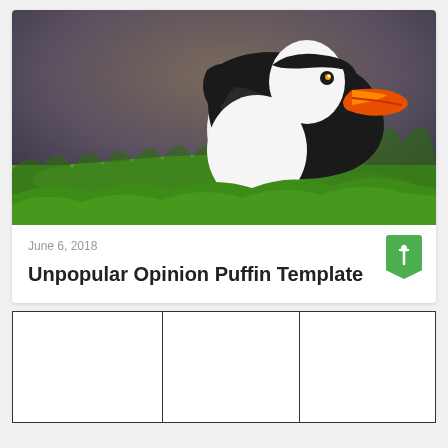[Figure (photo): A puffin bird walking on green grass, viewed from the side. The bird has distinctive black and white plumage with a colorful orange beak. The background is blurred with brown and green tones.]
June 6, 2018
Unpopular Opinion Puffin Template
|  |  |  |